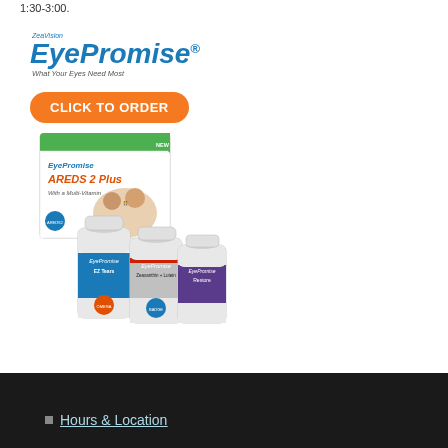1:30-3:00.
[Figure (logo): EyePromise by ZeaVision logo with tagline 'What Your Eyes Need Most' and orange CLICK TO ORDER button, followed by product image showing AREDS 2 Plus box and three supplement bottles]
Hours & Location